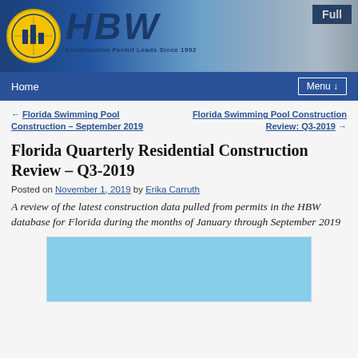[Figure (logo): HBW Construction Permit Leads Since 1992 header banner with logo circle, HBW text in blue, and construction tools background. 'Full' badge in top right.]
Home   Menu ↓
← Florida Swimming Pool Construction – September 2019
Florida Swimming Pool Construction Review: Q3-2019 →
Florida Quarterly Residential Construction Review – Q3-2019
Posted on November 1, 2019 by Erika Carruth
A review of the latest construction data pulled from permits in the HBW database for Florida during the months of January through September 2019
[Figure (photo): Partial view of a chart or image with light blue sky background, cropped at bottom of page]